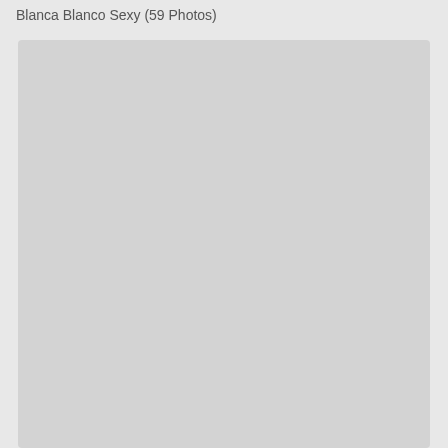Blanca Blanco Sexy (59 Photos)
[Figure (photo): Large grey placeholder image area representing a photo from the Blanca Blanco Sexy gallery]